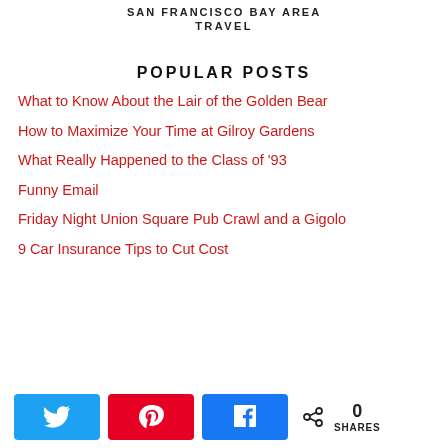SAN FRANCISCO BAY AREA TRAVEL
POPULAR POSTS
What to Know About the Lair of the Golden Bear
How to Maximize Your Time at Gilroy Gardens
What Really Happened to the Class of '93
Funny Email
Friday Night Union Square Pub Crawl and a Gigolo
9 Car Insurance Tips to Cut Cost
0 SHARES